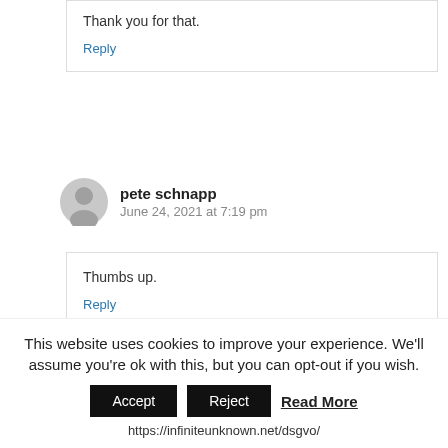Thank you for that.
Reply
pete schnapp
June 24, 2021 at 7:19 pm
Thumbs up.
Reply
This website uses cookies to improve your experience. We'll assume you're ok with this, but you can opt-out if you wish.
Accept   Reject   Read More
https://infiniteunknown.net/dsgvo/